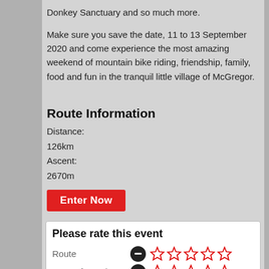Donkey Sanctuary and so much more.
Make sure you save the date, 11 to 13 September 2020 and come experience the most amazing weekend of mountain bike riding, friendship, family, food and fun in the tranquil little village of McGregor.
Route Information
Distance:
126km
Ascent:
2670m
Enter Now
Please rate this event
Route
Ease of travel
Organisation